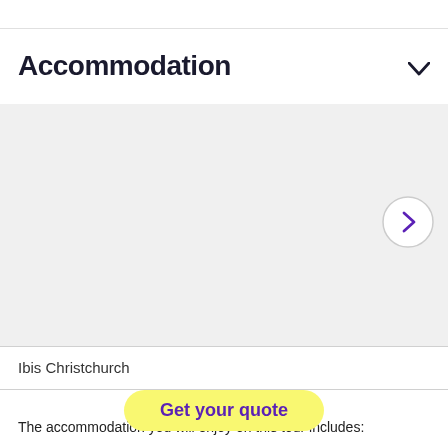Accommodation
[Figure (photo): Accommodation image carousel area with a right navigation arrow button (purple chevron in a circle)]
Ibis Christchurch
Get your quote
The accommodation you will enjoy on this tour includes: